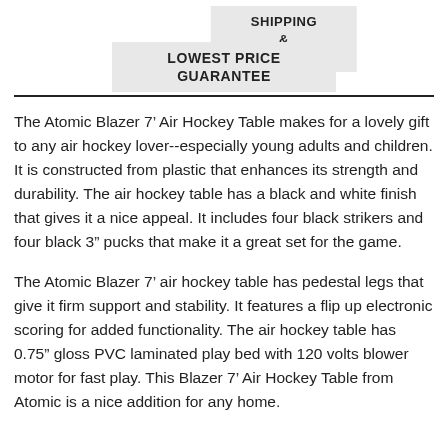SHIPPING & RETURNS
LOWEST PRICE GUARANTEE
The Atomic Blazer 7' Air Hockey Table makes for a lovely gift to any air hockey lover--especially young adults and children. It is constructed from plastic that enhances its strength and durability. The air hockey table has a black and white finish that gives it a nice appeal. It includes four black strikers and four black 3” pucks that make it a great set for the game.
The Atomic Blazer 7’ air hockey table has pedestal legs that give it firm support and stability. It features a flip up electronic scoring for added functionality. The air hockey table has 0.75” gloss PVC laminated play bed with 120 volts blower motor for fast play. This Blazer 7’ Air Hockey Table from Atomic is a nice addition for any home.